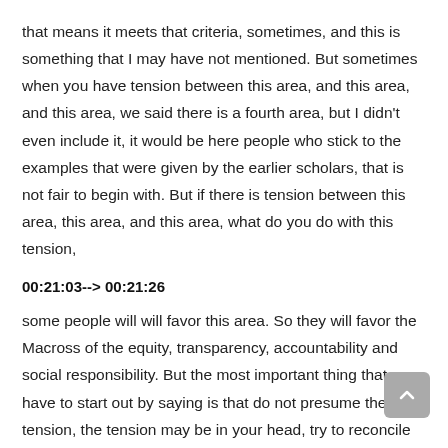that means it meets that criteria, sometimes, and this is something that I may have not mentioned. But sometimes when you have tension between this area, and this area, and this area, we said there is a fourth area, but I didn't even include it, it would be here people who stick to the examples that were given by the earlier scholars, that is not fair to begin with. But if there is tension between this area, this area, and this area, what do you do with this tension,
00:21:03--> 00:21:26
some people will will favor this area. So they will favor the Macross of the equity, transparency, accountability and social responsibility. But the most important thing that we have to start out by saying is that do not presume the tension, the tension may be in your head, try to reconcile because the Sharia is basically